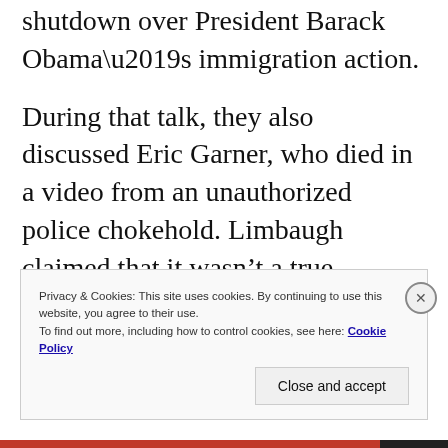shutdown over President Barack Obama’s immigration action.
During that talk, they also discussed Eric Garner, who died in a video from an unauthorized police chokehold. Limbaugh claimed that it wasn’t a true chokehold, and he also argued that cigarette taxes are to blame.
Privacy & Cookies: This site uses cookies. By continuing to use this website, you agree to their use. To find out more, including how to control cookies, see here: Cookie Policy